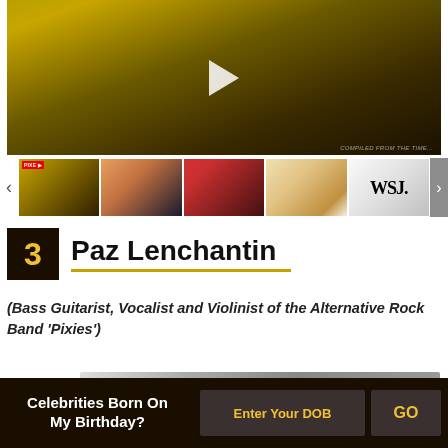[Figure (photo): Main video thumbnail showing a woman in a mustard/yellow outfit with red nails, with a play button overlay]
[Figure (photo): Row of video thumbnails: woman portrait, man in dark suit (Elon Musk style), group of people, WSJ logo partial]
3  Paz Lenchantin
(Bass Guitarist, Vocalist and Violinist of the Alternative Rock Band 'Pixies')
[Figure (photo): Partial black and white photo at bottom]
Celebrities Born On My Birthday?  Enter Your DOB  GO